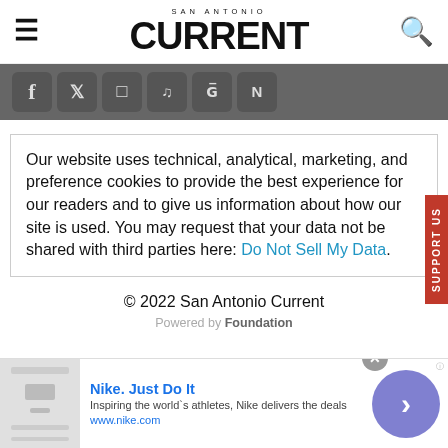SAN ANTONIO CURRENT
[Figure (screenshot): Social media share icons bar: Facebook, Twitter, Instagram, TikTok, Google News, Apple News]
Our website uses technical, analytical, marketing, and preference cookies to provide the best experience for our readers and to give us information about how our site is used. You may request that your data not be shared with third parties here: Do Not Sell My Data.
© 2022 San Antonio Current
Powered by Foundation
[Figure (screenshot): Advertisement: Nike. Just Do It. Inspiring the world's athletes, Nike delivers the deals. www.nike.com]